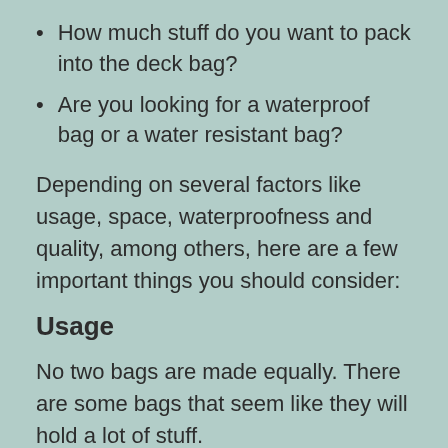How much stuff do you want to pack into the deck bag?
Are you looking for a waterproof bag or a water resistant bag?
Depending on several factors like usage, space, waterproofness and quality, among others, here are a few important things you should consider:
Usage
No two bags are made equally. There are some bags that seem like they will hold a lot of stuff.